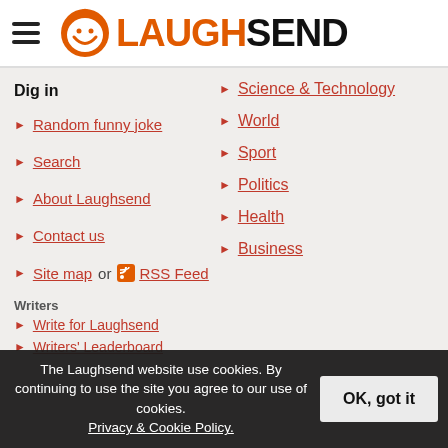LaughSend
Dig in
Random funny joke
Search
Science & Technology
World
Sport
Politics
Health
Business
About Laughsend
Contact us
Site map  or  RSS Feed
Writers
Write for Laughsend
Writers' Leaderboard
The Laughsend website use cookies. By continuing to use the site you agree to our use of cookies. Privacy & Cookie Policy.